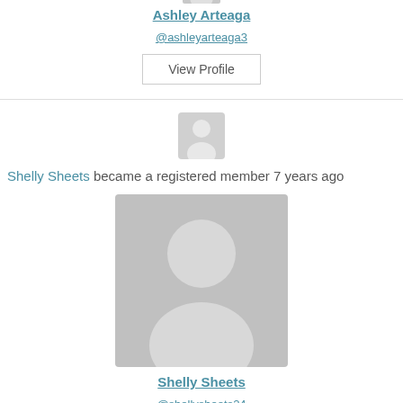[Figure (illustration): Small generic user avatar (grey silhouette, partial, cropped at top)]
Ashley Arteaga
@ashleyarteaga3
View Profile
[Figure (illustration): Small generic user avatar icon (grey silhouette)]
Shelly Sheets became a registered member 7 years ago
[Figure (illustration): Large generic user avatar placeholder (grey silhouette)]
Shelly Sheets
@shellysheets24
View Profile